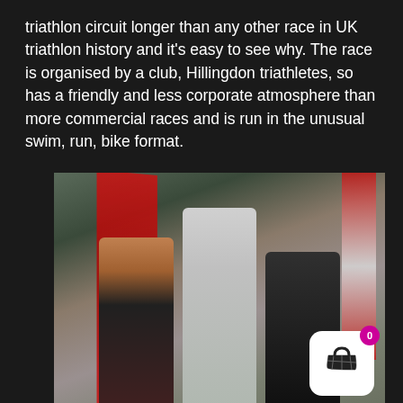triathlon circuit longer than any other race in UK triathlon history and it's easy to see why. The race is organised by a club, Hillingdon triathletes, so has a friendly and less corporate atmosphere than more commercial races and is run in the unusual swim, run, bike format.
[Figure (photo): Three men posing together at a triathlon event finish area. The man on the left wears an orange and black triathlon kit with TORQ branding and holds a champagne bottle. The tall man in the middle wears a grey hoodie. The man on the right wears a dark hoodie. Red race banners are visible in the background along with trees. A shopping cart UI overlay with a magenta badge showing '0' appears in the bottom right corner.]